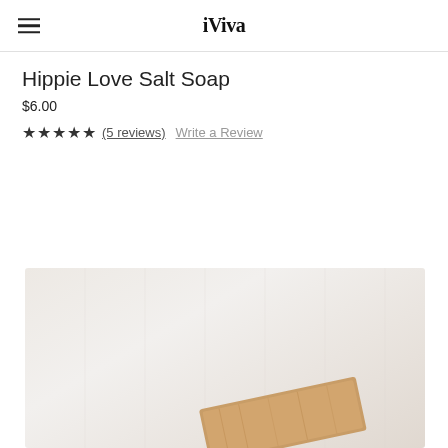iViva
Hippie Love Salt Soap
$6.00
★★★★★ (5 reviews)  Write a Review
[Figure (photo): Product photo of Hippie Love Salt Soap in a wooden tray against a white fabric background]